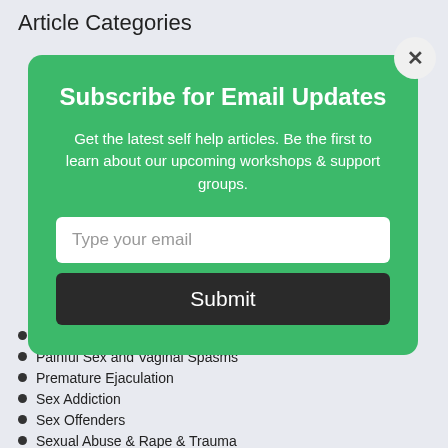Article Categories
[Figure (screenshot): Email subscription modal popup with green background, title 'Subscribe for Email Updates', descriptive text, email input field, and Submit button with a close X button in top right]
Painful Intercourse / Dyspareunia
Painful Sex and Vaginal Spasms
Premature Ejaculation
Sex Addiction
Sex Offenders
Sexual Abuse & Rape & Trauma
Sexual Aversion / Avoidance
Sexual Communication
Sexual Mismatch in the bedroom